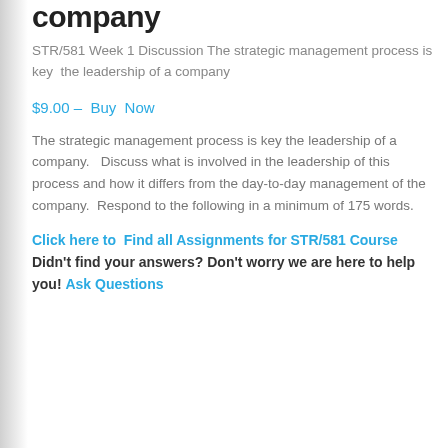company
STR/581 Week 1 Discussion The strategic management process is key the leadership of a company
$9.00 – Buy Now
The strategic management process is key the leadership of a company.   Discuss what is involved in the leadership of this process and how it differs from the day-to-day management of the company.  Respond to the following in a minimum of 175 words.
Click here to Find all Assignments for STR/581 Course Didn't find your answers? Don't worry we are here to help you! Ask Questions